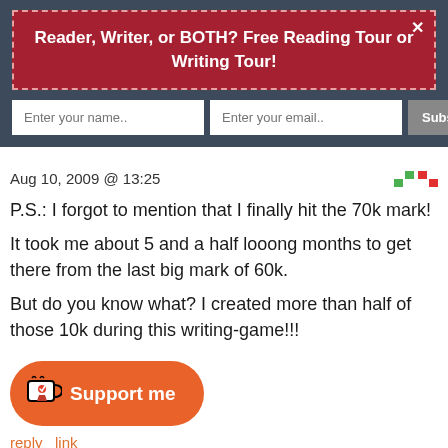Reader, Writer, or BOTH? Free Reading Tour or Writing Tour!
Enter your name..
Enter your email..
Subscribe Now
Aug 10, 2009 @ 13:25
P.S.: I forgot to mention that I finally hit the 70k mark! It took me about 5 and a half looong months to get there from the last big mark of 60k. But do you know what? I created more than half of those 10k during this writing-game!!!
[Figure (illustration): Orange rounded button with a coffee cup icon and text 'Support me']
reply   link